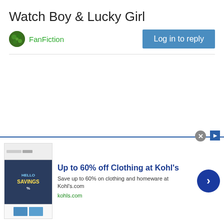Watch Boy & Lucky Girl
FanFiction
Log in to reply
[Figure (screenshot): Infolinks advertisement banner showing 'Up to 60% off Clothing at Kohl's' ad with image of savings display, blue arrow button, and close button]
Up to 60% off Clothing at Kohl's
Save up to 60% on clothing and homeware at Kohl's.com
kohls.com